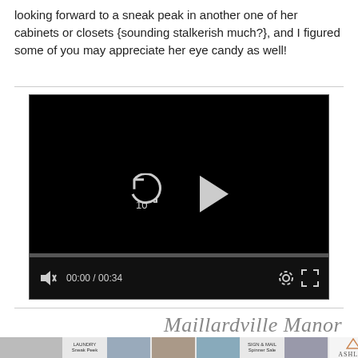looking forward to a sneak peak in another one of her cabinets or closets {sounding stalkerish much?}, and I figured some of you may appreciate her eye candy as well!
[Figure (screenshot): Embedded video player with black background, showing replay and play controls, a progress bar at 00:00/00:34, mute icon, settings gear, and fullscreen button.]
Maillardville Manor
[Figure (screenshot): Advertisement bar with thumbnail images of laundry/closet content and an Ashley Furniture logo.]